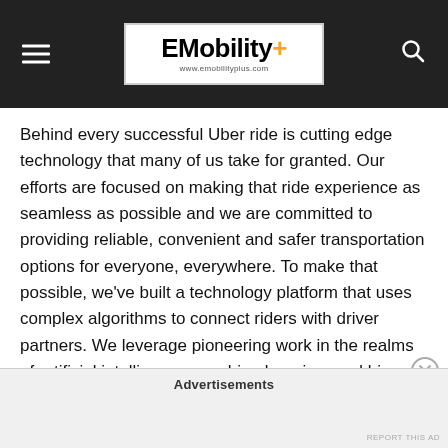EMobility+ www.emobilityplus.com
Behind every successful Uber ride is cutting edge technology that many of us take for granted. Our efforts are focused on making that ride experience as seamless as possible and we are committed to providing reliable, convenient and safer transportation options for everyone, everywhere. To make that possible, we've built a technology platform that uses complex algorithms to connect riders with driver partners. We leverage pioneering work in the realms of artificial intelligence, machine learning, and big data to innovate several industry-first solutions in many parts of the world.
Technology is not just key to our growth strategy but also
Advertisements